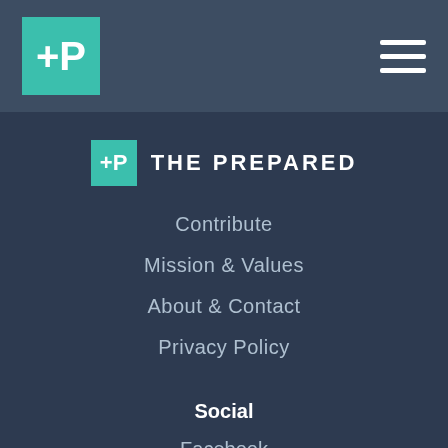THE PREPARED [logo header bar with hamburger menu]
[Figure (logo): The Prepared logo: teal square with white plus/P symbol, followed by THE PREPARED text in white caps]
Contribute
Mission & Values
About & Contact
Privacy Policy
Social
Facebook
Twitter
YouTube
Pinterest